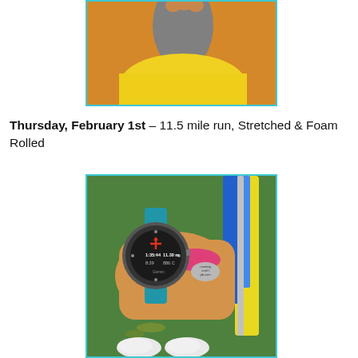[Figure (photo): Close-up photo of a person's lap/legs wearing orange shorts and a yellow top, viewed from above]
Thursday, February 1st – 11.5 mile run, Stretched & Foam Rolled
[Figure (photo): Photo of a person's wrist wearing a Garmin GPS watch showing 1:35:44 time, 11.30 mi distance, 8:39 pace, 886 C calories, along with a pink bracelet with a metal tag reading 'running until I pb.com', blue and yellow leash straps visible, and running shoes visible at bottom on grass]